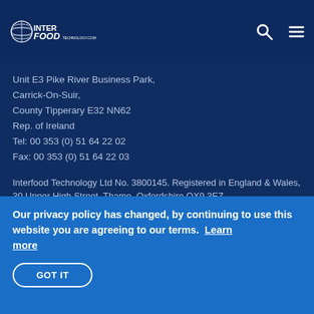[Figure (logo): Interfood Technology logo with globe icon, white text on dark blue background]
Unit E3 Pike River Business Park,
Carrick-On-Suir,
County Tipperary E32 NN62
Rep. of Ireland
Tel: 00 353 (0) 51 64 22 02
Fax: 00 353 (0) 51 64 22 03
Interfood Technology Ltd No. 3800145. Registered in England & Wales, 30 Upper High Street, Thame, Oxfordshire OX9 3EZ.
Our privacy policy has changed, by continuing to use this website you are agreeing to our terms.  Learn more
GOT IT